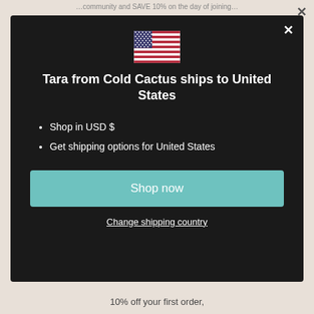…community and SAVE 10% on the day of joining…
[Figure (illustration): US flag emoji / SVG flag of the United States]
Tara from Cold Cactus ships to United States
Shop in USD $
Get shipping options for United States
Shop now
Change shipping country
10% off your first order,